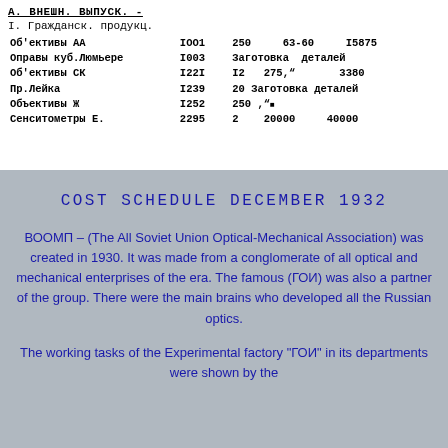А. ВНЕШН. ВЫПУСК. -
I. Гражданск. продукц.
| Об'ективы АА | IOO1 | 250 | 63-60 | I5875 |
| Оправы куб.Люмьере | I003 | Заготовка деталей |  |  |
| Об'ективы СК | I22I | I2 | 275," | 3380 |
| Пр.Лейка | I239 | 20 | Заготовка деталей |  |
| Объективы Ж | I252 | 250 | ," |  |
| Сенситометры Е. | 2295 | 2 | 20000 | 40000 |
COST SCHEDULE DECEMBER 1932
ВООМП – (The All Soviet Union Optical-Mechanical Association) was created in 1930. It was made from a conglomerate of all optical and mechanical enterprises of the era. The famous (ГОИ) was also a partner of the group. There were the main brains who developed all the Russian optics.
The working tasks of the Experimental factory "ГОИ" in its departments were shown by the